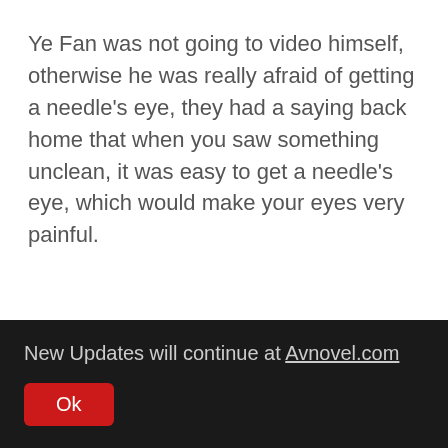Ye Fan was not going to video himself, otherwise he was really afraid of getting a needle's eye, they had a saying back home that when you saw something unclean, it was easy to get a needle's eye, which would make your eyes very painful.
New Updates will continue at Avnovel.com